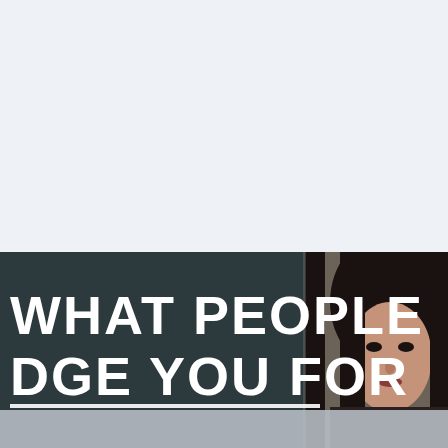[Figure (photo): A partially visible photo showing a dark panel/sign with bold white text reading 'WHAT PEOPLE JUDGE YOU FOR' and a young woman with long dark hair visible on the right side, looking directly at camera. The bottom of the image has a gray/silver overlay strip.]